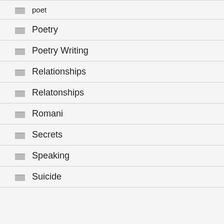poet
Poetry
Poetry Writing
Relationships
Relatonships
Romani
Secrets
Speaking
Suicide